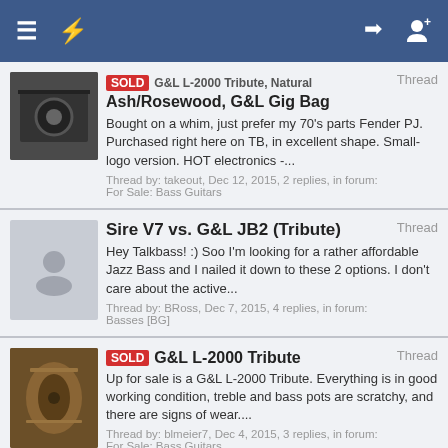Navigation bar with menu, lightning bolt icon, login and add-user icons
SOLD G&L L-2000 Tribute, Natural Ash/Rosewood, G&L Gig Bag — Bought on a whim, just prefer my 70's parts Fender PJ. Purchased right here on TB, in excellent shape. Small-logo version. HOT electronics -... Thread by: takeout, Dec 12, 2015, 2 replies, in forum: For Sale: Bass Guitars
Sire V7 vs. G&L JB2 (Tribute) — Hey Talkbass! :) Soo I'm looking for a rather affordable Jazz Bass and I nailed it down to these 2 options. I don't care about the active... Thread by: BRoss, Dec 7, 2015, 4 replies, in forum: Basses [BG]
SOLD G&L L-2000 Tribute — Up for sale is a G&L L-2000 Tribute. Everything is in good working condition, treble and bass pots are scratchy, and there are signs of wear.... Thread by: blmeier7, Dec 4, 2015, 3 replies, in forum: For Sale: Bass Guitars